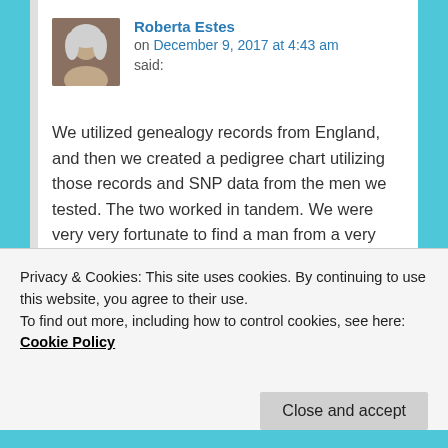Roberta Estes
on December 9, 2017 at 4:43 am said:
We utilized genealogy records from England, and then we created a pedigree chart utilizing those records and SNP data from the men we tested. The two worked in tandem. We were very very fortunate to find a man from a very early ancestor through another son.
Loading...
Privacy & Cookies: This site uses cookies. By continuing to use this website, you agree to their use.
To find out more, including how to control cookies, see here: Cookie Policy
Close and accept